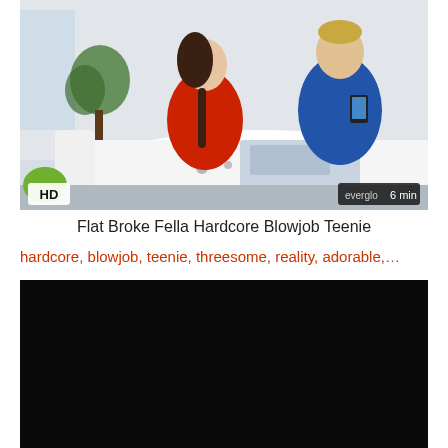[Figure (photo): Video thumbnail showing a woman in a red top and a man in a blue t-shirt sitting at a white round table. HD badge in bottom-left, everglo 6 min badge in bottom-right.]
Flat Broke Fella Hardcore Blowjob Teenie
hardcore, blowjob, teenie, threesome, reality, adorable,…
[Figure (photo): Black/dark video thumbnail placeholder.]